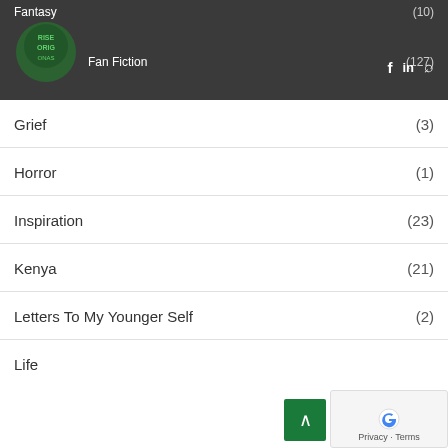Fantasy (10)
Fan Fiction (127)
Grief (3)
Horror (1)
Inspiration (23)
Kenya (21)
Letters To My Younger Self (2)
Life